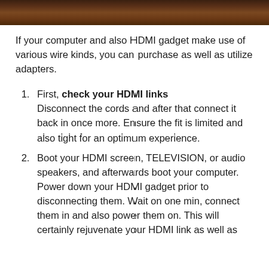[Figure (photo): Dark brown/mahogany colored banner image at top of page]
If your computer and also HDMI gadget make use of various wire kinds, you can purchase as well as utilize adapters.
First, check your HDMI links Disconnect the cords and after that connect it back in once more. Ensure the fit is limited and also tight for an optimum experience.
Boot your HDMI screen, TELEVISION, or audio speakers, and afterwards boot your computer. Power down your HDMI gadget prior to disconnecting them. Wait on one min, connect them in and also power them on. This will certainly rejuvenate your HDMI link as well as